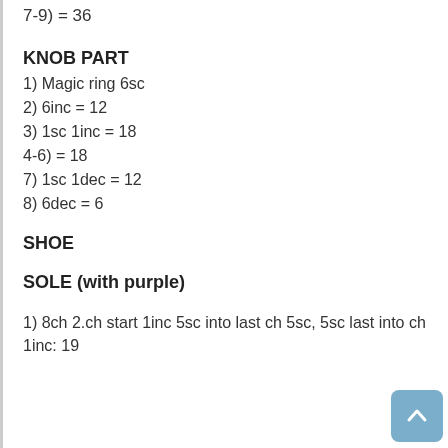7-9) = 36
KNOB PART
1) Magic ring 6sc
2) 6inc = 12
3) 1sc 1inc = 18
4-6) = 18
7) 1sc 1dec = 12
8) 6dec = 6
SHOE
SOLE (with purple)
1) 8ch 2.ch start 1inc 5sc into last ch 5sc, 5sc last into ch 1inc: 19